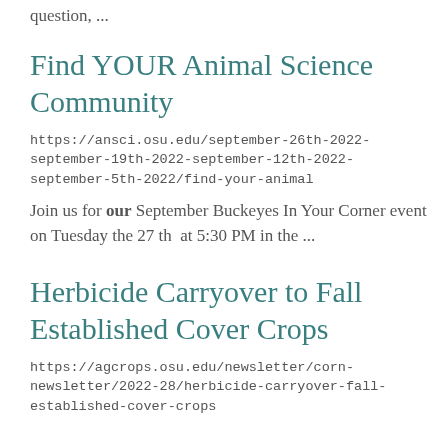question, ...
Find YOUR Animal Science Community
https://ansci.osu.edu/september-26th-2022-september-19th-2022-september-12th-2022-september-5th-2022/find-your-animal
Join us for our September Buckeyes In Your Corner event on Tuesday the 27 th  at 5:30 PM in the ...
Herbicide Carryover to Fall Established Cover Crops
https://agcrops.osu.edu/newsletter/corn-newsletter/2022-28/herbicide-carryover-fall-established-cover-crops